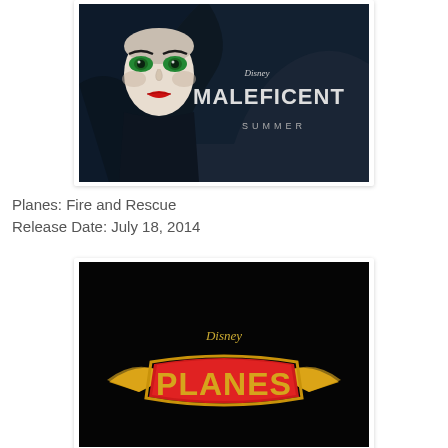[Figure (photo): Disney Maleficent movie poster showing a dark character with striking green eyes wearing a black headdress, with the text 'Disney MALEFICENT SUMMER']
Planes: Fire and Rescue
Release Date: July 18, 2014
[Figure (photo): Disney Planes: Fire and Rescue movie poster showing the Disney logo and PLANES logo in red and gold on a black background]